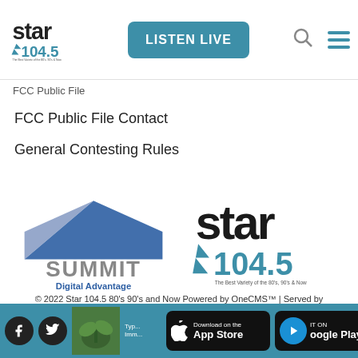Star 104.5 | LISTEN LIVE
FCC Public File
FCC Public File Contact
General Contesting Rules
[Figure (logo): Summit Digital Advantage logo — blue triangle roof shape above grey SUMMIT text with blue 'Digital Advantage' subtitle]
[Figure (logo): Star 104.5 logo — black 'star' script with star/lightning bolt graphic and '104.5' in blue, tagline 'The Best Variety of the 80's, 90's & Now']
© 2022 Star 104.5 80's 90's and Now Powered by OneCMS™ | Served by InterTech Media LLC